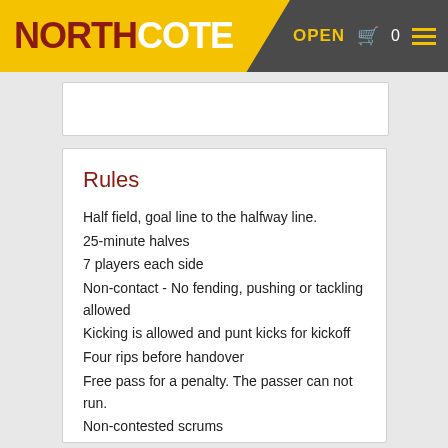NORTHCOTE  OPEN  0
Rules
Half field, goal line to the halfway line.
25-minute halves
7 players each side
Non-contact - No fending, pushing or tackling allowed
Kicking is allowed and punt kicks for kickoff
Four rips before handover
Free pass for a penalty. The passer can not run.
Non-contested scrums